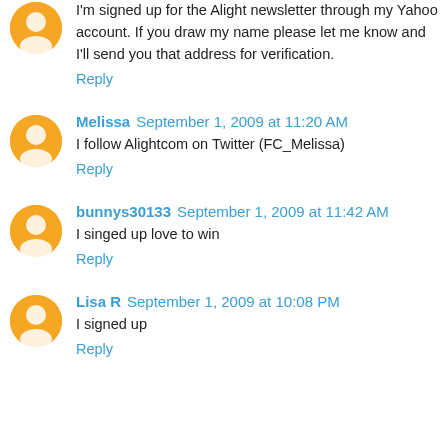I'm signed up for the Alight newsletter through my Yahoo account. If you draw my name please let me know and I'll send you that address for verification.
Reply
Melissa  September 1, 2009 at 11:20 AM
I follow Alightcom on Twitter (FC_Melissa)
Reply
bunnys30133  September 1, 2009 at 11:42 AM
I singed up love to win
Reply
Lisa R  September 1, 2009 at 10:08 PM
I signed up
Reply